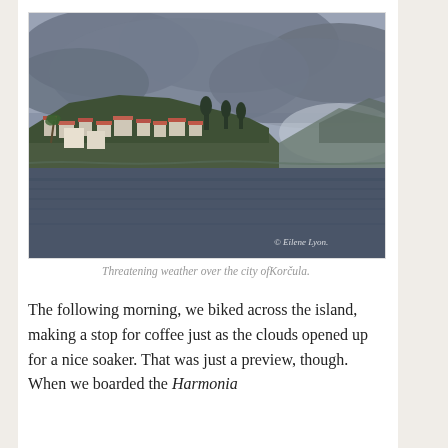[Figure (photo): A coastal town with buildings on a hillside under heavy grey cloudy skies, with dark blue water in the foreground. A watermark reads '© Eilene Lyon.' in the bottom right.]
Threatening weather over the city of Korčula.
The following morning, we biked across the island, making a stop for coffee just as the clouds opened up for a nice soaker. That was just a preview, though. When we boarded the Harmonia